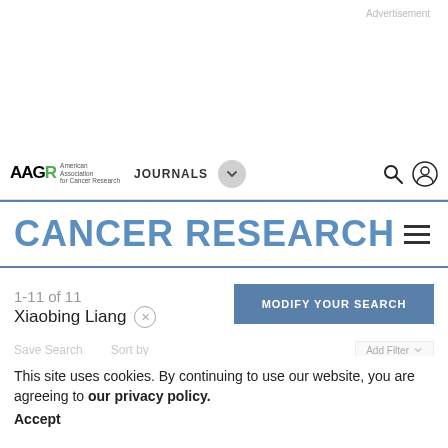Advertisement
AACR American Association for Cancer Research JOURNALS
CANCER RESEARCH
1-11 of 11
Xiaobing Liang
MODIFY YOUR SEARCH
This site uses cookies. By continuing to use our website, you are agreeing to our privacy policy.
Accept